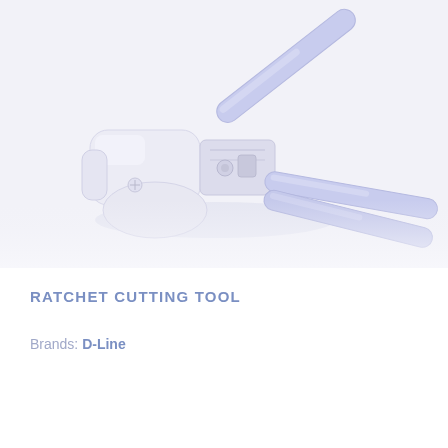[Figure (photo): A ratchet cutting tool with white body and light blue/purple handles, photographed against a light grey-white background. The tool has a mechanical ratchet mechanism visible in the center and two elongated handles extending to the right.]
RATCHET CUTTING TOOL
Brands: D-Line